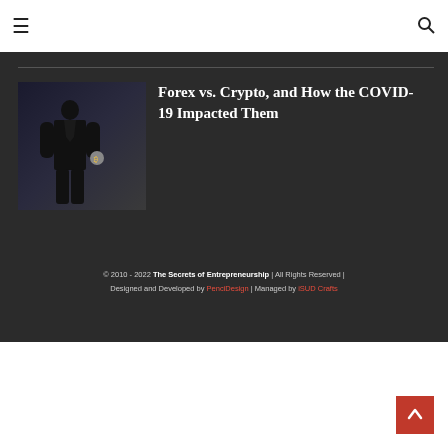☰  🔍
[Figure (photo): Person in suit holding a coin, dark background — article thumbnail for Forex vs. Crypto article]
Forex vs. Crypto, and How the COVID-19 Impacted Them
© 2010 - 2022 The Secrets of Entrepreneurship | All Rights Reserved | Designed and Developed by PenciDesign | Managed by iSUD Crafts